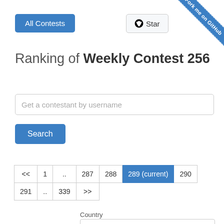[Figure (other): Blue diagonal ribbon in top-right corner with text 'Fork me on GitHub']
All Contests
Star
Ranking of Weekly Contest 256
Get a contestant by username
Search
| << | 1 | .. | 287 | 288 | 289 (current) | 290 |
| 291 | .. | 339 | >> |  |  |  |
Country
All
#   Username   Rank   Previous rating